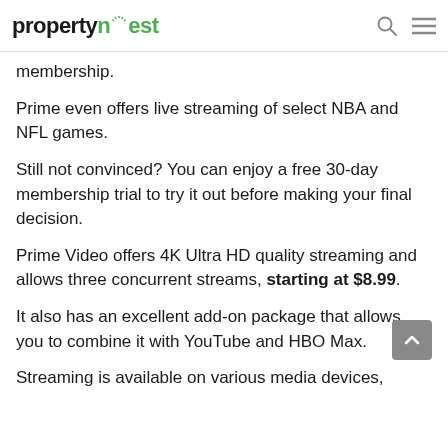propertynest
membership.
Prime even offers live streaming of select NBA and NFL games.
Still not convinced? You can enjoy a free 30-day membership trial to try it out before making your final decision.
Prime Video offers 4K Ultra HD quality streaming and allows three concurrent streams, starting at $8.99.
It also has an excellent add-on package that allows you to combine it with YouTube and HBO Max.
Streaming is available on various media devices,